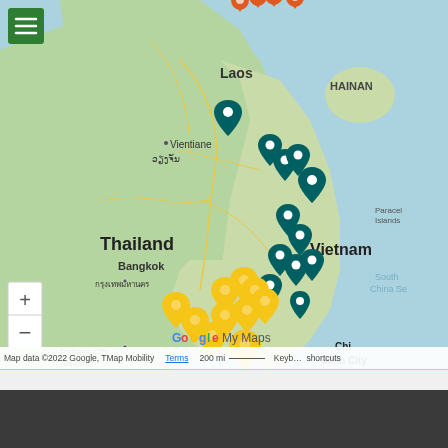[Figure (map): Google My Maps showing Southeast Asia — Thailand, Laos, Vietnam, Cambodia, with colored pin markers: orange/red pins in northern Vietnam/China border area, teal/dark green pins along Vietnam coast and central Vietnam, yellow pins in southern Cambodia and southern Vietnam (Ho Chi Minh City area). Map labels include Laos, Vientiane, Thailand, Bangkok, Pattaya City, Cambodia, Ho Chi Minh City, Hainan, Paracel Islands, South China Sea, Gulf of Thailand. Map data ©2022 Google, TMap Mobility. Scale: 200 mi.]
[Figure (screenshot): Dark footer bar at bottom of page with 'ABOUT US' heading text in green bold letters with a green circular icon, on a dark charcoal background.]